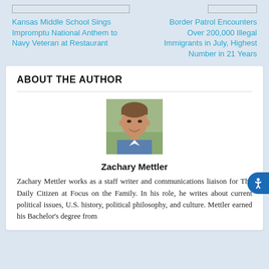Kansas Middle School Sings Impromptu National Anthem to Navy Veteran at Restaurant
Border Patrol Encounters Over 200,000 Illegal Immigrants in July, Highest Number in 21 Years
ABOUT THE AUTHOR
[Figure (photo): Headshot photo of Zachary Mettler, a young man smiling, wearing a blue plaid shirt, with green foliage in the background]
Zachary Mettler
Zachary Mettler works as a staff writer and communications liaison for The Daily Citizen at Focus on the Family. In his role, he writes about current political issues, U.S. history, political philosophy, and culture. Mettler earned his Bachelor's degree from